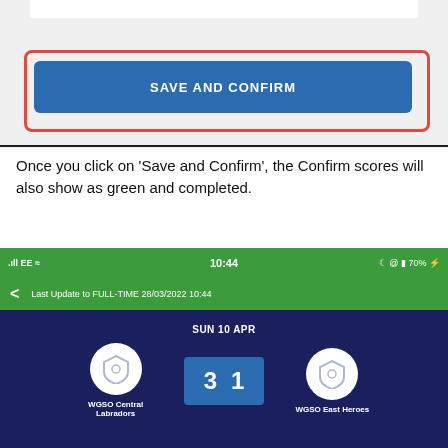[Figure (screenshot): Mobile app screenshot showing a blue 'SAVE AND CONFIRM' button inside a red-bordered highlight box on a grey background]
Once you click on 'Save and Confirm', the Confirm scores will also show as green and completed.
[Figure (screenshot): Mobile app screenshot showing a sports match result: WGSO Central Labradors vs WGSO East Heroes, score 3-1, SUN 10 APR, with green status bar showing EE network, 10:44 time, 70% battery, and 'Last Update to FULL-TIME 28/03/2022 10:44']